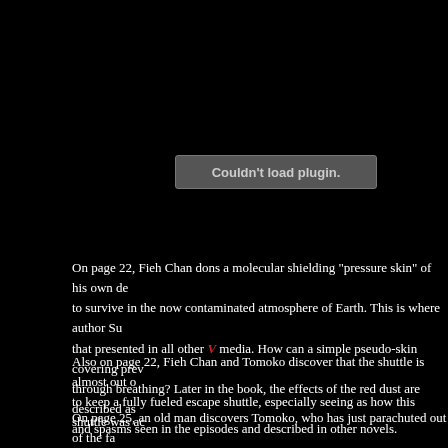[Figure (other): Plugin error box with text 'Couldn't load plugin.' on black background]
On page 22, Fieh Chan dons a molecular shielding "pressure skin" of his own de to survive in the now contaminated atmosphere of Earth. This is where author Su that presented in all other V media. How can a simple pseudo-skin covering prev through breathing? Later in the book, the effects of the red dust are described as and spasms seen in the episodes and described in other novels.
Also on page 22, Fieh Chan and Tomoko discover that the shuttle is almost out o to keep a fully fueled escape shuttle, especially seeing as how this shuttle was ac
On page 25, an old man discovers Tomoko, who has just parachuted out of the fa daroo is unknown to me. Tomoko asks him, "O-misu o o-negai shimasu?" I can'